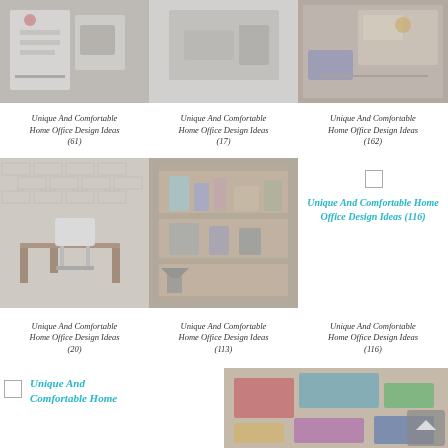[Figure (photo): Home office with white shelves, desk, and chair]
[Figure (photo): Minimalist home office with grey cabinets]
[Figure (photo): Modern home office with desk and blue chair]
Unique And Comfortable Home Office Design Ideas (61)
Unique And Comfortable Home Office Design Ideas (17)
Unique And Comfortable Home Office Design Ideas (162)
[Figure (photo): Mid-century desk with white chair against brick wall]
[Figure (photo): Wooden built-in office shelving unit with accessories]
[Figure (photo): Broken image placeholder for design idea 116]
Unique And Comfortable Home Office Design Ideas (20)
Unique And Comfortable Home Office Design Ideas (113)
Unique And Comfortable Home Office Design Ideas (116)
[Figure (photo): Broken image placeholder linking to design idea]
[Figure (photo): Colorful overhead view of desk with red and teal items]